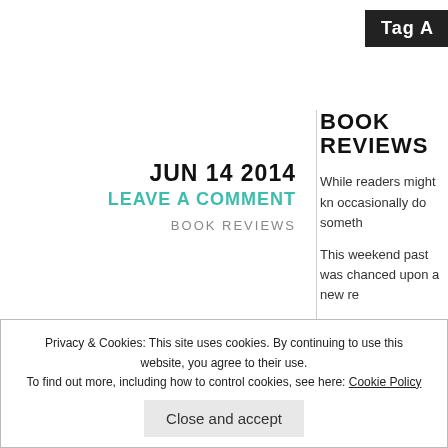Tag A
JUN 14 2014
LEAVE A COMMENT
BOOK REVIEWS
BOOK REVIEWS
While readers might kno occasionally do someth
This weekend past was chanced upon a new re
After a week of hard wo tome, looking forward t
Privacy & Cookies: This site uses cookies. By continuing to use this website, you agree to their use.
To find out more, including how to control cookies, see here: Cookie Policy
Close and accept